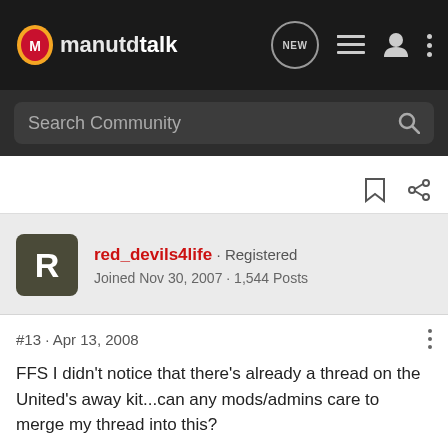manutdtalk
Search Community
red_devils4life · Registered
Joined Nov 30, 2007 · 1,544 Posts
#13 · Apr 13, 2008
FFS I didn't notice that there's already a thread on the United's away kit...can any mods/admins care to merge my thread into this?